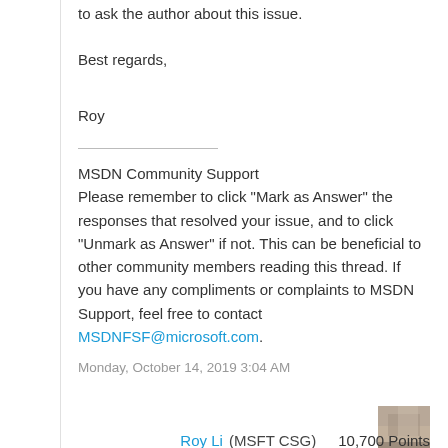to ask the author about this issue.
Best regards,
Roy
MSDN Community Support
Please remember to click "Mark as Answer" the responses that resolved your issue, and to click "Unmark as Answer" if not. This can be beneficial to other community members reading this thread. If you have any compliments or complaints to MSDN Support, feel free to contact MSDNFSF@microsoft.com.
Monday, October 14, 2019 3:04 AM
Roy Li (MSFT CSG)  10,700 Points